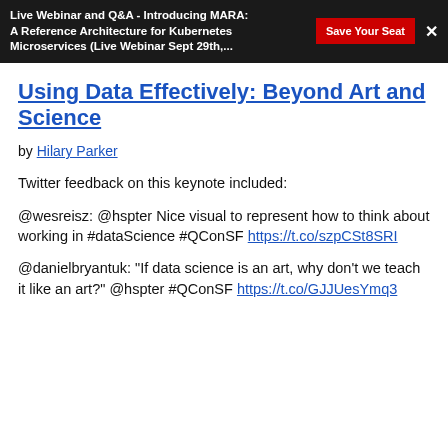Live Webinar and Q&A - Introducing MARA: A Reference Architecture for Kubernetes Microservices (Live Webinar Sept 29th,... | Save Your Seat | ×
Using Data Effectively: Beyond Art and Science
by Hilary Parker
Twitter feedback on this keynote included:
@wesreisz: @hspter Nice visual to represent how to think about working in #dataScience #QConSF https://t.co/szpCSt8SRI
@danielbryantuk: "If data science is an art, why don't we teach it like an art?" @hspter #QConSF https://t.co/GJJUesYmq3